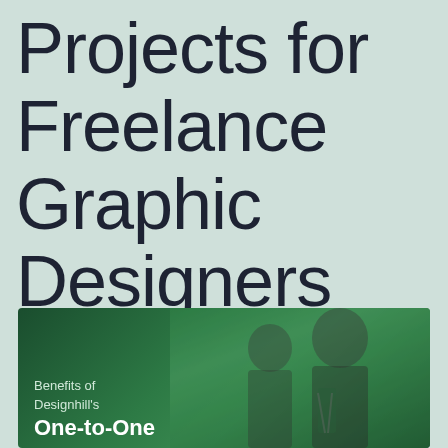Projects for Freelance Graphic Designers
[Figure (photo): A green-tinted photo of two businessmen in suits having a discussion, overlaid with text about Designhill's One-to-One service benefits]
Benefits of Designhill's
One-to-One